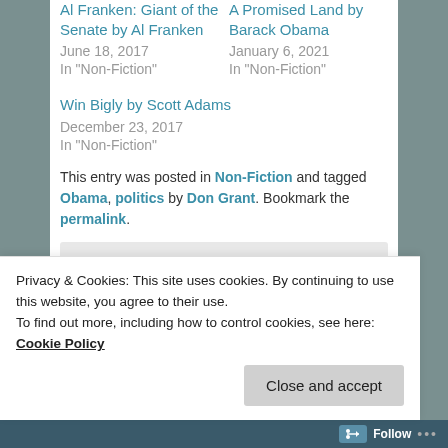Al Franken: Giant of the Senate by Al Franken
June 18, 2017
In "Non-Fiction"
A Promised Land by Barack Obama
January 6, 2021
In "Non-Fiction"
Win Bigly by Scott Adams
December 23, 2017
In "Non-Fiction"
This entry was posted in Non-Fiction and tagged Obama, politics by Don Grant. Bookmark the permalink.
Leave a Reply
Privacy & Cookies: This site uses cookies. By continuing to use this website, you agree to their use.
To find out more, including how to control cookies, see here: Cookie Policy